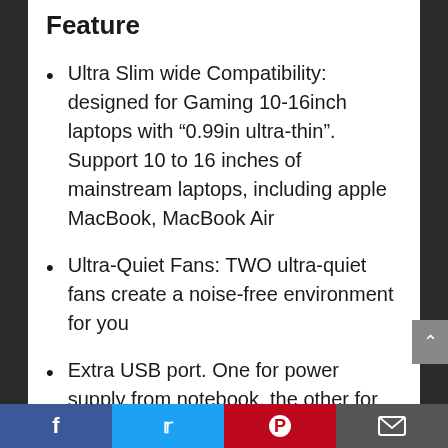Feature
Ultra Slim wide Compatibility: designed for Gaming 10-16inch laptops with “0.99in ultra-thin”. Support 10 to 16 inches of mainstream laptops, including apple MacBook, MacBook Air
Ultra-Quiet Fans: TWO ultra-quiet fans create a noise-free environment for you
Extra USB port. One for power supply from notebook, the other for Mobile/U disk wont miss any portable USB devices at all with the